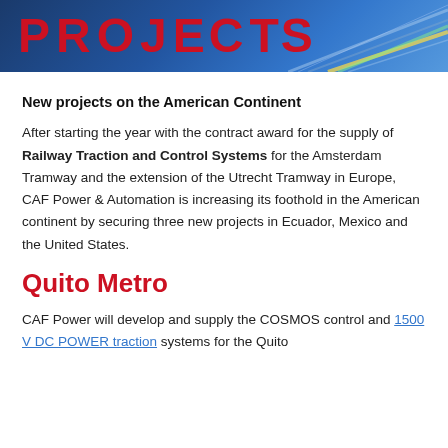[Figure (photo): Header image with red text reading PROJECTS overlaid on a blue railway/tram background with diagonal rail lines visible on the right side.]
New projects on the American Continent
After starting the year with the contract award for the supply of Railway Traction and Control Systems for the Amsterdam Tramway and the extension of the Utrecht Tramway in Europe, CAF Power & Automation is increasing its foothold in the American continent by securing three new projects in Ecuador, Mexico and the United States.
Quito Metro
CAF Power will develop and supply the COSMOS control and 1500 V DC POWER traction systems for the Quito